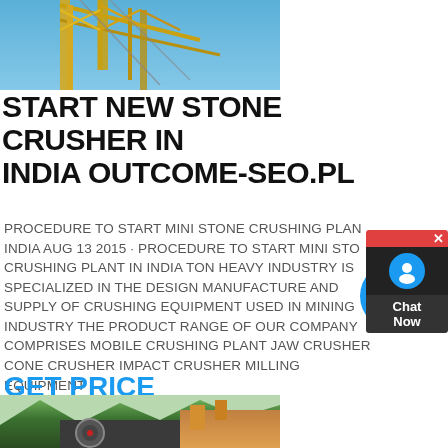[Figure (photo): Partial view of yellow construction/mining crane equipment against blue sky]
START NEW STONE CRUSHER IN INDIA OUTCOME-SEO.PL
PROCEDURE TO START MINI STONE CRUSHING PLANT IN INDIA AUG 13 2015 · PROCEDURE TO START MINI STONE CRUSHING PLANT IN INDIA TON HEAVY INDUSTRY IS SPECIALIZED IN THE DESIGN MANUFACTURE AND SUPPLY OF CRUSHING EQUIPMENT USED IN MINING INDUSTRY THE PRODUCT RANGE OF OUR COMPANY COMPRISES MOBILE CRUSHING PLANT JAW CRUSHER CONE CRUSHER IMPACT CRUSHER MILLING EQUIPMENT BALL MILL VIBRATING FEEDERS
GET PRICE
[Figure (photo): Stone crusher machinery with mountains in background]